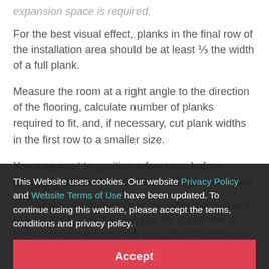expansion space is required.
For the best visual effect, planks in the final row of the installation area should be at least ⅓ the width of a full plank.
Measure the room at a right angle to the direction of the flooring, calculate number of planks required to fit, and, if necessary, cut plank widths in the first row to a smaller size.
You may want to position a few rows before starting installation to confirm your layout decision and working line.
When laying flooring, stagger the joints row by row by at least 8" (20 cm). You can use the cut off end to begin installing the adjacent row. The last plank in a row to fit. If cut-off end is less than 8"
rotate (at least ¼ manually) and use it to start the
This Website uses cookies. Our website Privacy Policy and Website Terms of Use have been updated. To continue using this website, please accept the terms, conditions and privacy policy.
Accept